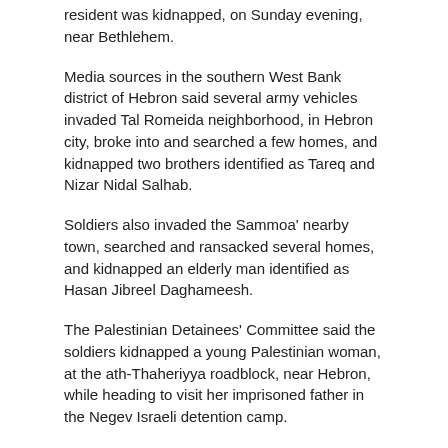resident was kidnapped, on Sunday evening, near Bethlehem.
Media sources in the southern West Bank district of Hebron said several army vehicles invaded Tal Romeida neighborhood, in Hebron city, broke into and searched a few homes, and kidnapped two brothers identified as Tareq and Nizar Nidal Salhab.
Soldiers also invaded the Sammoa' nearby town, searched and ransacked several homes, and kidnapped an elderly man identified as Hasan Jibreel Daghameesh.
The Palestinian Detainees' Committee said the soldiers kidnapped a young Palestinian woman, at the ath-Thaheriyya roadblock, near Hebron, while heading to visit her imprisoned father in the Negev Israeli detention camp.
The Committee said the soldiers kidnapped Somayya Ibrahim Ghneimat, and took her to the military base in Keryat Arba' colony, in Hebron; her father is serving a life term.
In addition, soldiers invaded 'Aseera ash-Shemaliyya town, north of the northern West Bank city of Nablus, and kidnapped Mekyin Thieb Sa'ada, 22, after searching his home.
In related news, soldiers invaded Serees village, south of the northern